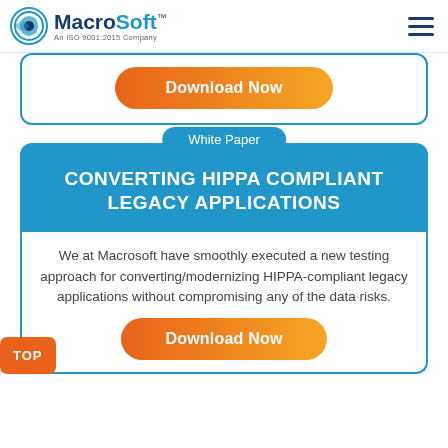MacroSoft™ An ISO 9001:2015 Company
[Figure (other): Download Now button (orange gradient, rounded)]
White Paper
CONVERTING HIPPA COMPLIANT LEGACY APPLICATIONS
We at Macrosoft have smoothly executed a new testing approach for converting/modernizing HIPPA-compliant legacy applications without compromising any of the data risks.
[Figure (other): Download Now button (orange gradient, rounded) at bottom]
[Figure (other): TOP button (orange square, bottom left)]